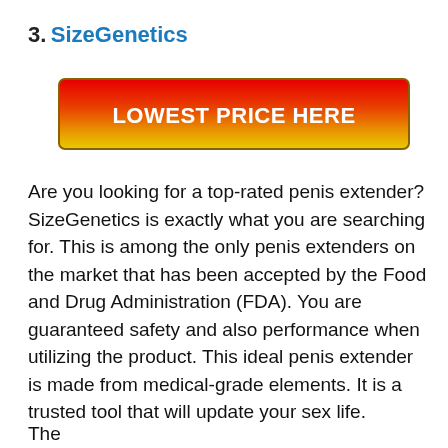3. SizeGenetics
[Figure (other): Red-to-yellow gradient call-to-action button with text LOWEST PRICE HERE]
Are you looking for a top-rated penis extender? SizeGenetics is exactly what you are searching for. This is among the only penis extenders on the market that has been accepted by the Food and Drug Administration (FDA). You are guaranteed safety and also performance when utilizing the product. This ideal penis extender is made from medical-grade elements. It is a trusted tool that will update your sex life.
The...